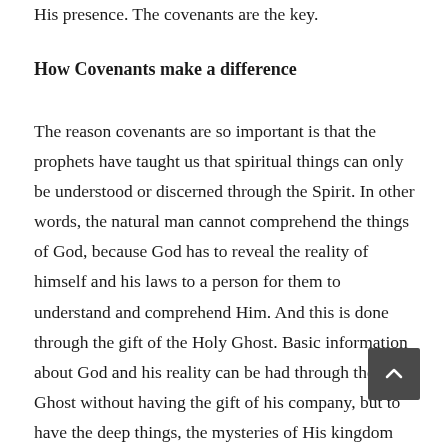His presence. The covenants are the key.
How Covenants make a difference
The reason covenants are so important is that the prophets have taught us that spiritual things can only be understood or discerned through the Spirit. In other words, the natural man cannot comprehend the things of God, because God has to reveal the reality of himself and his laws to a person for them to understand and comprehend Him. And this is done through the gift of the Holy Ghost. Basic information about God and his reality can be had through the Holy Ghost without having the gift of his company, but to have the deep things, the mysteries of His kingdom and personality revealed, it requires the companionship of the Holy Ghost.